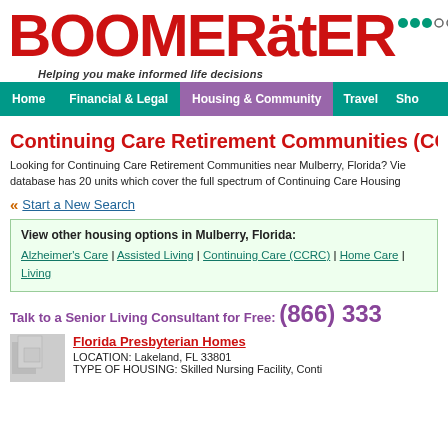[Figure (logo): BoomerAter logo in red bold text with tagline 'Helping you make informed life decisions']
Have ideas
Send Us Fe
Home | Financial & Legal | Housing & Community | Travel | Sho
Continuing Care Retirement Communities (CCR
Looking for Continuing Care Retirement Communities near Mulberry, Florida? Vie database has 20 units which cover the full spectrum of Continuing Care Housing
Start a New Search
View other housing options in Mulberry, Florida:
Alzheimer's Care | Assisted Living | Continuing Care (CCRC) | Home Care | Living
Talk to a Senior Living Consultant for Free: (866) 333
Florida Presbyterian Homes
LOCATION: Lakeland, FL 33801
TYPE OF HOUSING: Skilled Nursing Facility, Conti